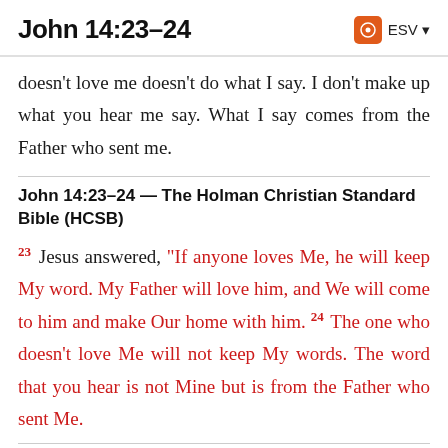John 14:23–24   ESV
doesn’t love me doesn’t do what I say. I don’t make up what you hear me say. What I say comes from the Father who sent me.
John 14:23–24 — The Holman Christian Standard Bible (HCSB)
23 Jesus answered, “If anyone loves Me, he will keep My word. My Father will love him, and We will come to him and make Our home with him. 24 The one who doesn’t love Me will not keep My words. The word that you hear is not Mine but is from the Father who sent Me.
John 14:23–24 — The New Revised Standard Version...